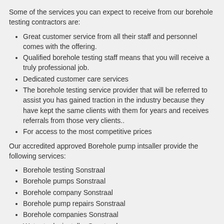Some of the services you can expect to receive from our borehole testing contractors are:
Great customer service from all their staff and personnel comes with the offering.
Qualified borehole testing staff means that you will receive a truly professional job.
Dedicated customer care services
The borehole testing service provider that will be referred to assist you has gained traction in the industry because they have kept the same clients with them for years and receives referrals from those very clients..
For access to the most competitive prices
Our accredited approved Borehole pump intsaller provide the following services:
Borehole testing Sonstraal
Borehole pumps Sonstraal
Borehole company Sonstraal
Borehole pump repairs Sonstraal
Borehole companies Sonstraal
Water tanks installer Sonstraal
Borehole maintenance Sonstraal
Water tanks installations Sonstraal
Borehole intsaller Sonstraal
Borehole pump intsaller Sonstraal